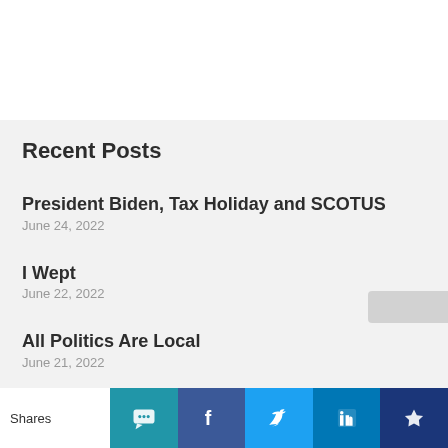Recent Posts
President Biden, Tax Holiday and SCOTUS
June 24, 2022
I Wept
June 22, 2022
All Politics Are Local
June 21, 2022
My Friend Ed Gardner of Midlothian
June 21, 2022
Shares